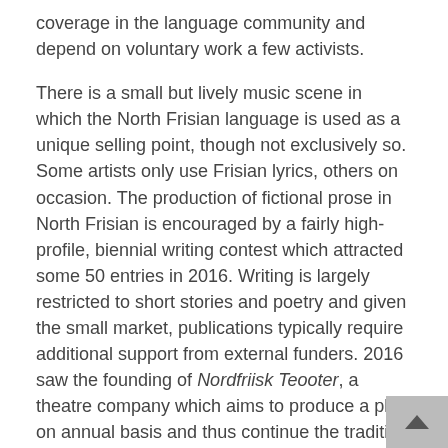coverage in the language community and depend on voluntary work a few activists.
There is a small but lively music scene in which the North Frisian language is used as a unique selling point, though not exclusively so. Some artists only use Frisian lyrics, others on occasion. The production of fictional prose in North Frisian is encouraged by a fairly high-profile, biennial writing contest which attracted some 50 entries in 2016. Writing is largely restricted to short stories and poetry and given the small market, publications typically require additional support from external funders. 2016 saw the founding of Nordfriisk Teooter, a theatre company which aims to produce a play on annual basis and thus continue the tradition of putting on amateur productions in the region but with a more modern and modernising approach than in the past.